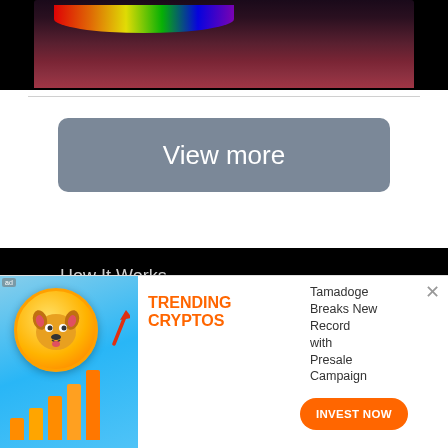[Figure (photo): Partial face with rainbow and dark background, cropped at top of page]
[Figure (other): View more button - gray rounded rectangle button with white text 'View more']
How It Works
FAQ
Ambassador Program
[Figure (infographic): Ad banner: Tamadoge crypto ad with coin logo, bar chart, trending cryptos label, text 'Tamadoge Breaks New Record with Presale Campaign', and orange INVEST NOW button]